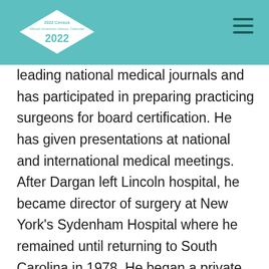2022 Census African American History Calendar 2022
leading national medical journals and has participated in preparing practicing surgeons for board certification. He has given presentations at national and international medical meetings. After Dargan left Lincoln hospital, he became director of surgery at New York’s Sydenham Hospital where he remained until returning to South Carolina in 1978. He began a private practice in thoracic, vascular and general surgery in Columbia. Two years later, Dr. Dargan and Dr. Gerald A. Wilson formed Midlands Surgical Associates, P.A., which now includes Dr. Dennis A. Wilson. Dr. Dargan retired from active practice in 2004. “I get high from